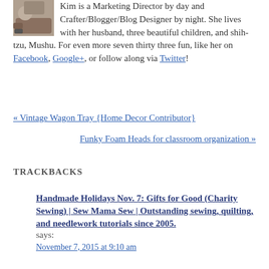Kim is a Marketing Director by day and Crafter/Blogger/Blog Designer by night. She lives with her husband, three beautiful children, and shih-tzu, Mushu. For even more seven thirty three fun, like her on Facebook, Google+, or follow along via Twitter!
« Vintage Wagon Tray {Home Decor Contributor}
Funky Foam Heads for classroom organization »
TRACKBACKS
Handmade Holidays Nov. 7: Gifts for Good (Charity Sewing) | Sew Mama Sew | Outstanding sewing, quilting, and needlework tutorials since 2005. says:
November 7, 2015 at 9:10 am